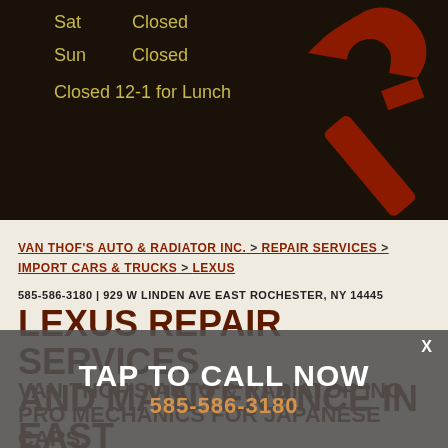Sat    Closed
Sun    Closed
Closed 12-1 for Lunch
[Figure (illustration): Red wrench icon in top-right corner on dark background]
VAN THOF'S AUTO & RADIATOR INC. > REPAIR SERVICES > IMPORT CARS & TRUCKS > LEXUS
585-586-3180 | 929 W LINDEN AVE EAST ROCHESTER, NY 14445
LEXUS REPAIR SERVICES AND MAINTENANCE IN EAST ROCHESTER
TAP TO CALL NOW
585-586-3180
VAN THOF'S AUTO & RADIATOR INC. PRO MECHANICS FOR JAPANESE CARS,